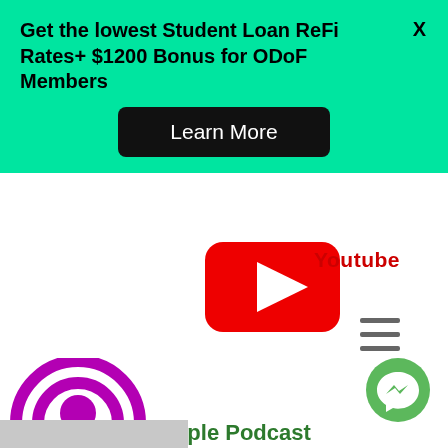Get the lowest Student Loan ReFi Rates+ $1200 Bonus for ODoF Members
Learn More
[Figure (logo): YouTube logo icon (red rounded rectangle with white play triangle)]
Youtube
[Figure (illustration): Hamburger menu icon (three horizontal lines)]
[Figure (logo): Apple Podcasts purple logo icon with signal waves and person silhouette]
Apple Podcast
[Figure (illustration): Green circular Messenger chat icon]